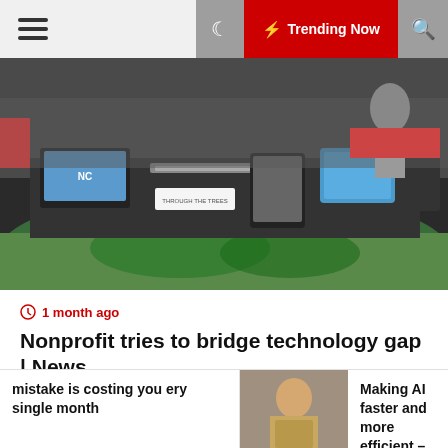Trending Now
[Figure (photo): Conference/expo table with laptops, tablets and printed materials on a dark tablecloth]
1 month ago
Nonprofit tries to bridge technology gap | News
[Figure (photo): Google logo sign mounted on a wall with a person in a suit blurred in the background]
mistake is costing you ery single month
[Figure (photo): Person in suit at an event]
Making AI faster and more efficient – News Center